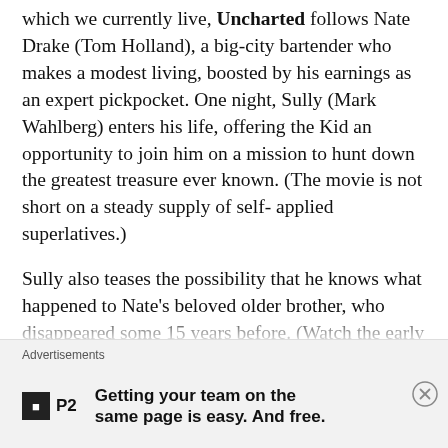which we currently live, Uncharted follows Nate Drake (Tom Holland), a big-city bartender who makes a modest living, boosted by his earnings as an expert pickpocket. One night, Sully (Mark Wahlberg) enters his life, offering the Kid an opportunity to join him on a mission to hunt down the greatest treasure ever known. (The movie is not short on a steady supply of self-applied superlatives.)
Sully also teases the possibility that he knows what happened to Nate's beloved older brother, who disappeared some 15 years before. (Watch the early flashback for pertinent story details.) With that possibility in mind, Nate agrees to join Sully, but first an adversary or two needs to be introduced, along with another friendly collaborator who cannot be trusted
Advertisements
Getting your team on the same page is easy. And free.